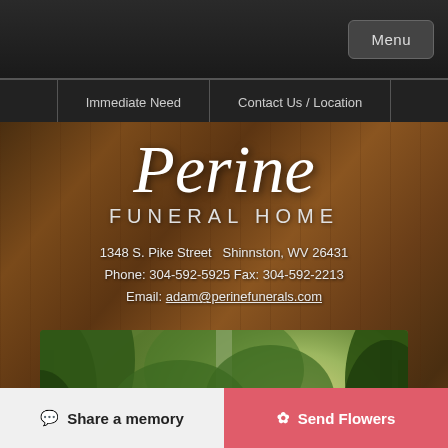Menu
Immediate Need | Contact Us / Location
Perine FUNERAL HOME
1348 S. Pike Street  Shinnston, WV 26431
Phone: 304-592-5925 Fax: 304-592-2213
Email: adam@perinefunerals.com
[Figure (photo): Outdoor forest/nature scene with sunlight filtering through green trees and a circular portrait photo of a man with a mustache in the center]
💬 Share a memory
✿ Send Flowers